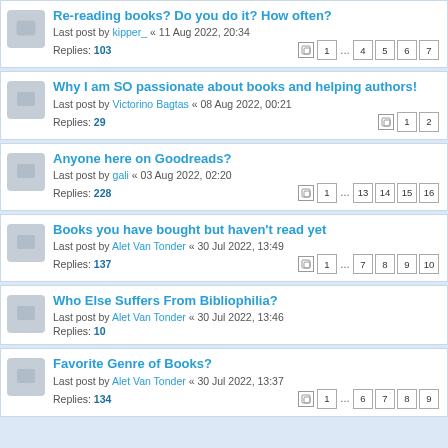Re-reading books? Do you do it? How often? Last post by kipper_ « 11 Aug 2022, 20:34 Replies: 103 Pages: 1 ... 4 5 6 7
Why I am SO passionate about books and helping authors! Last post by Victorino Bagtas « 08 Aug 2022, 00:21 Replies: 29 Pages: 1 2
Anyone here on Goodreads? Last post by gali « 03 Aug 2022, 02:20 Replies: 228 Pages: 1 ... 13 14 15 16
Books you have bought but haven't read yet Last post by Alet Van Tonder « 30 Jul 2022, 13:49 Replies: 137 Pages: 1 ... 7 8 9 10
Who Else Suffers From Bibliophilia? Last post by Alet Van Tonder « 30 Jul 2022, 13:46 Replies: 10
Favorite Genre of Books? Last post by Alet Van Tonder « 30 Jul 2022, 13:37 Replies: 134 Pages: 1 ... 6 7 8 9